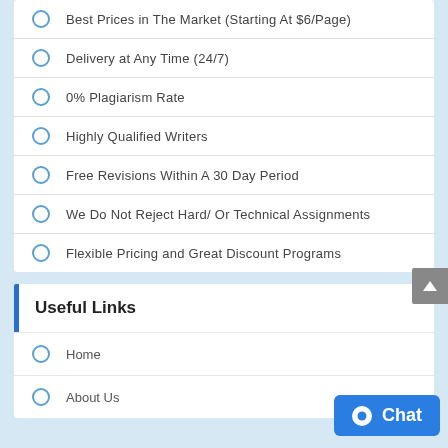Best Prices in The Market (Starting At $6/Page)
Delivery at Any Time (24/7)
0% Plagiarism Rate
Highly Qualified Writers
Free Revisions Within A 30 Day Period
We Do Not Reject Hard/ Or Technical Assignments
Flexible Pricing and Great Discount Programs
Useful Links
Home
About Us